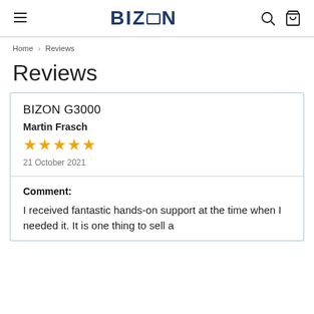BIZON
Home › Reviews
Reviews
BIZON G3000
Martin Frasch
★★★★★
21 October 2021
Comment:
I received fantastic hands-on support at the time when I needed it. It is one thing to sell a product, but it is another thing to...